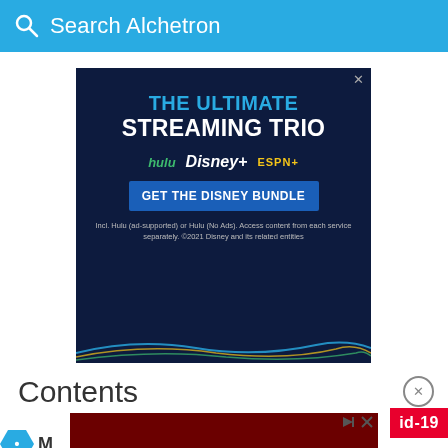Search Alchetron
[Figure (screenshot): Disney Bundle advertisement on dark navy background showing 'THE ULTIMATE STREAMING TRIO' in blue and white bold text, with Hulu, Disney+, ESPN+ logos, a 'GET THE DISNEY BUNDLE' blue button, and a disclaimer about Hulu (ad-supported) or Hulu (No Ads). Decorative colored wave lines at bottom.]
Contents
[Figure (screenshot): Partial bottom advertisement bar with dark red/maroon background, play and close icons visible at top right, and a red Covid-19 badge partially visible at right edge.]
M